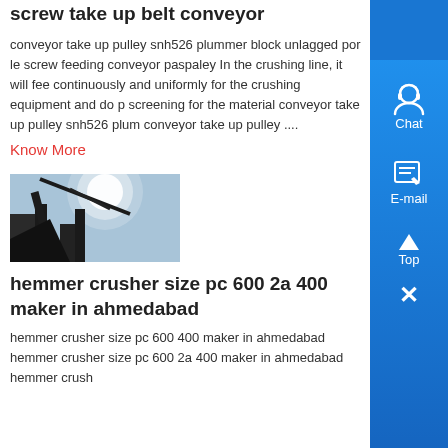screw take up belt conveyor
conveyor take up pulley snh526 plummer block unlagged por le screw feeding conveyor paspaley In the crushing line, it will feed continuously and uniformly for the crushing equipment and do p screening for the material conveyor take up pulley snh526 plum conveyor take up pulley ....
Know More
[Figure (photo): Industrial machinery or conveyor equipment photographed against bright sky]
hemmer crusher size pc 600 2a 400 maker in ahmedabad
hemmer crusher size pc 600 400 maker in ahmedabad hemmer crusher size pc 600 2a 400 maker in ahmedabad hemmer crush